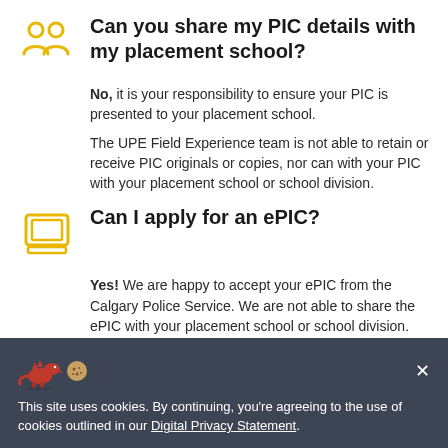Can you share my PIC details with my placement school?
No, it is your responsibility to ensure your PIC is presented to your placement school.
The UPE Field Experience team is not able to retain or receive PIC originals or copies, nor can with your PIC with your placement school or school division.
Can I apply for an ePIC?
Yes! We are happy to accept your ePIC from the Calgary Police Service. We are not able to share the ePIC with your placement school or school division.
This site uses cookies. By continuing, you're agreeing to the use of cookies outlined in our Digital Privacy Statement.